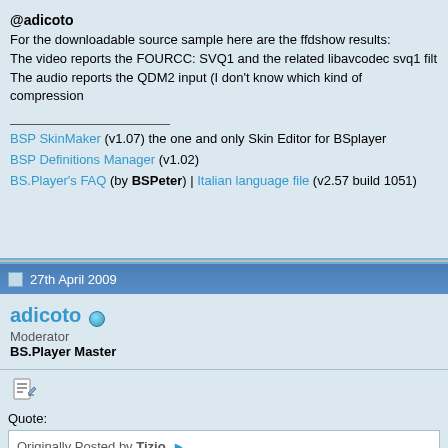@adicoto
For the downloadable source sample here are the ffdshow results:
The video reports the FOURCC: SVQ1 and the related libavcodec svq1 filt
The audio reports the QDM2 input (I don't know which kind of compression
BSP SkinMaker (v1.07) the one and only Skin Editor for BSplayer
BSP Definitions Manager (v1.02)
BS.Player's FAQ (by BSPeter) | Italian language file (v2.57 build 1051)
27th April 2009
adicoto
Moderator
BS.Player Master
Quote:
Originally Posted by Tizio
@BSchina
I tried to play a movie recorded with a Panasonic FZ5 and I wasn't able